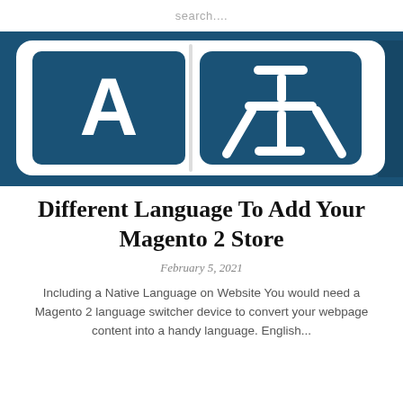search....
[Figure (illustration): Language translation icon showing letter A in a dark teal square on the left and a Chinese character in a rounded rectangle on the right, both on a dark blue background with shadow effect — representing language switching/translation.]
Different Language To Add Your Magento 2 Store
February 5, 2021
Including a Native Language on Website You would need a Magento 2 language switcher device to convert your webpage content into a handy language. English...